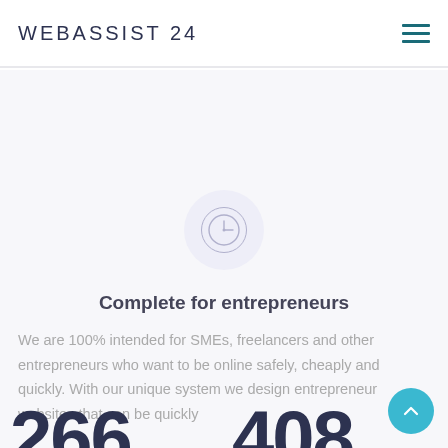WEBASSIST 24
[Figure (illustration): Clock/time icon in a light purple circular background, indicating a feature or service]
Complete for entrepreneurs
We are 100% intended for SMEs, freelancers and other entrepreneurs who want to be online safely, cheaply and quickly. With our unique system we design entrepreneur websites that can be quickly
266
408